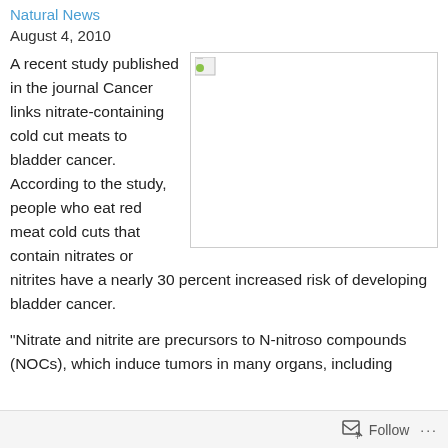Natural News
August 4, 2010
[Figure (photo): Broken/missing image placeholder with small green icon in top-left corner]
A recent study published in the journal Cancer links nitrate-containing cold cut meats to bladder cancer. According to the study, people who eat red meat cold cuts that contain nitrates or nitrites have a nearly 30 percent increased risk of developing bladder cancer.
“Nitrate and nitrite are precursors to N-nitroso compounds (NOCs), which induce tumors in many organs, including
Follow ...